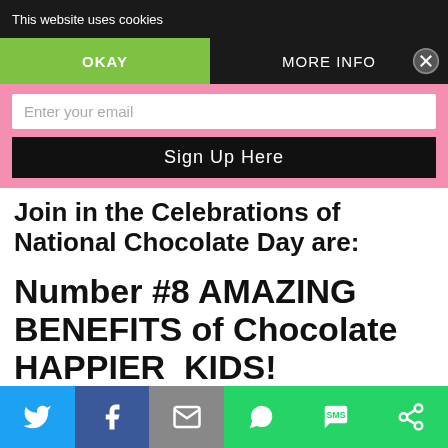This website uses cookies
OKAY    MORE INFO
Enter your email
Sign Up Here
Join in the Celebrations of National Chocolate Day are:
Number #8 AMAZING BENEFITS of Chocolate HAPPIER KIDS!
[Figure (screenshot): Social sharing bar at bottom with Twitter, Facebook, Email, WhatsApp, SMS, and other share buttons]